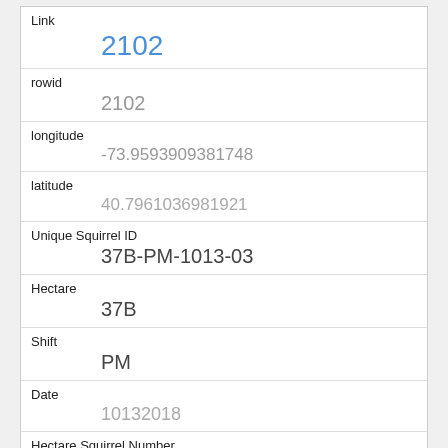| Field | Value |
| --- | --- |
| Link | 2102 |
| rowid | 2102 |
| longitude | -73.9593909381748 |
| latitude | 40.7961036981921 |
| Unique Squirrel ID | 37B-PM-1013-03 |
| Hectare | 37B |
| Shift | PM |
| Date | 10132018 |
| Hectare Squirrel Number | 3 |
| Age | Adult |